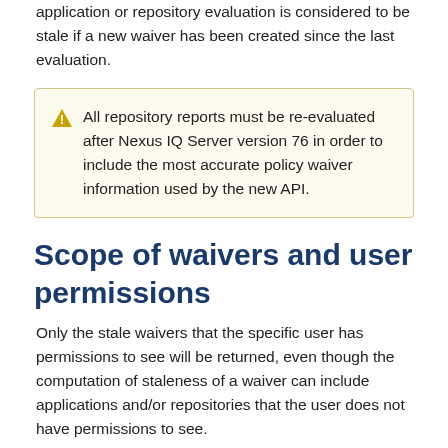application or repository evaluation is considered to be stale if a new waiver has been created since the last evaluation.
All repository reports must be re-evaluated after Nexus IQ Server version 76 in order to include the most accurate policy waiver information used by the new API.
Scope of waivers and user permissions
Only the stale waivers that the specific user has permissions to see will be returned, even though the computation of staleness of a waiver can include applications and/or repositories that the user does not have permissions to see.